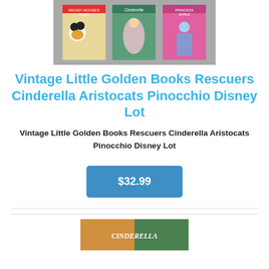[Figure (photo): Three vintage Disney Little Golden Books displayed side by side showing Mickey Mouse, Cinderella, and a Princess title covers]
Vintage Little Golden Books Rescuers Cinderella Aristocats Pinocchio Disney Lot
Vintage Little Golden Books Rescuers Cinderella Aristocats Pinocchio Disney Lot
$32.99
[Figure (photo): Partial view of another vintage Little Golden Book with colorful cover]